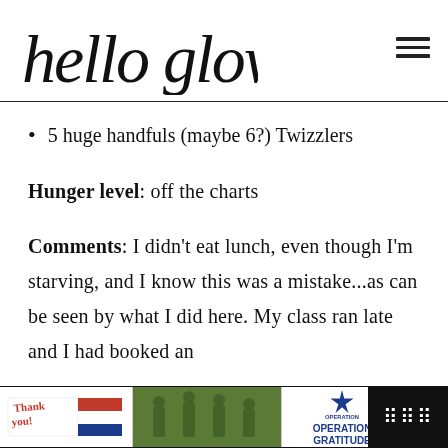hello glow
5 huge handfuls (maybe 6?) Twizzlers
Hunger level: off the charts
Comments: I didn't eat lunch, even though I'm starving, and I know this was a mistake...as can be seen by what I did here. My class ran late and I had booked an
[Figure (infographic): Advertisement banner at bottom: Thank you note with military imagery and Operation Gratitude logo]